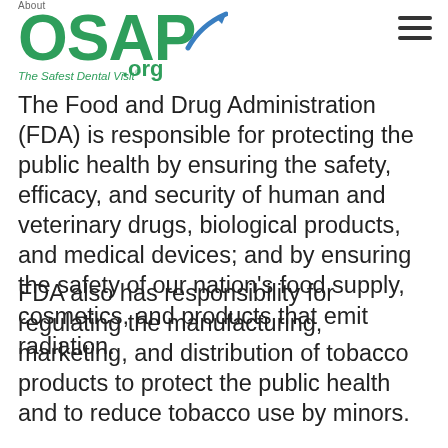About OSAP.org – The Safest Dental Visit
The Food and Drug Administration (FDA) is responsible for protecting the public health by ensuring the safety, efficacy, and security of human and veterinary drugs, biological products, and medical devices; and by ensuring the safety of our nation's food supply, cosmetics, and products that emit radiation.
FDA also has responsibility for regulating the manufacturing, marketing, and distribution of tobacco products to protect the public health and to reduce tobacco use by minors.